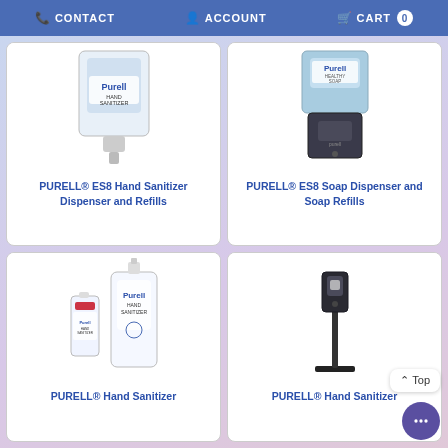CONTACT  ACCOUNT  CART 0
[Figure (photo): PURELL ES8 Hand Sanitizer Dispenser product image]
PURELL® ES8 Hand Sanitizer Dispenser and Refills
[Figure (photo): PURELL ES8 Soap Dispenser with dark housing product image]
PURELL® ES8 Soap Dispenser and Soap Refills
[Figure (photo): PURELL Hand Sanitizer bottles product image]
PURELL® Hand Sanitizer
[Figure (photo): PURELL Hand Sanitizer floor stand dispenser product image]
PURELL® Hand Sanitizer